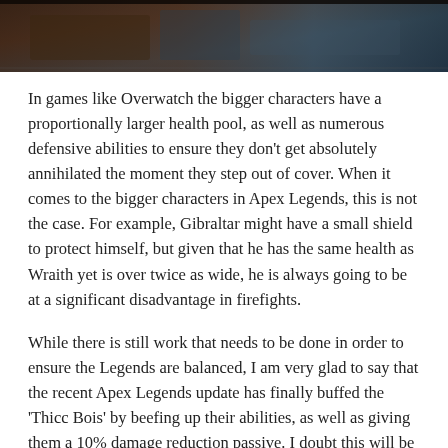[Figure (photo): A dark-toned game screenshot showing what appears to be an Apex Legends scene with warm and cool tones.]
In games like Overwatch the bigger characters have a proportionally larger health pool, as well as numerous defensive abilities to ensure they don't get absolutely annihilated the moment they step out of cover. When it comes to the bigger characters in Apex Legends, this is not the case. For example, Gibraltar might have a small shield to protect himself, but given that he has the same health as Wraith yet is over twice as wide, he is always going to be at a significant disadvantage in firefights.
While there is still work that needs to be done in order to ensure the Legends are balanced, I am very glad to say that the recent Apex Legends update has finally buffed the 'Thicc Bois' by beefing up their abilities, as well as giving them a 10% damage reduction passive. I doubt this will be enough to make Gibraltar and Caustic as powerful as the always-amazing Wraith, Lifeline or Pathfinder, but it's certainly a step in the right direction and one that I am